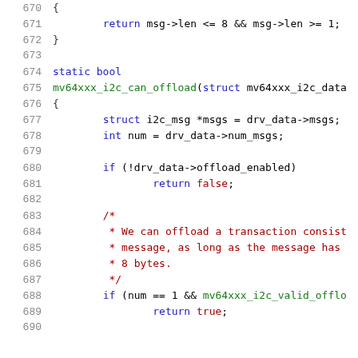Code listing lines 670-690: C source code for mv64xxx_i2c_can_offload function
670    {
671        return msg->len <= 8 && msg->len >= 1;
672    }
673
674    static bool
675    mv64xxx_i2c_can_offload(struct mv64xxx_i2c_data
676    {
677        struct i2c_msg *msgs = drv_data->msgs;
678        int num = drv_data->num_msgs;
679
680        if (!drv_data->offload_enabled)
681                return false;
682
683        /*
684         * We can offload a transaction consist
685         * message, as long as the message has
686         * 8 bytes.
687         */
688        if (num == 1 && mv64xxx_i2c_valid_offlo
689                return true;
690